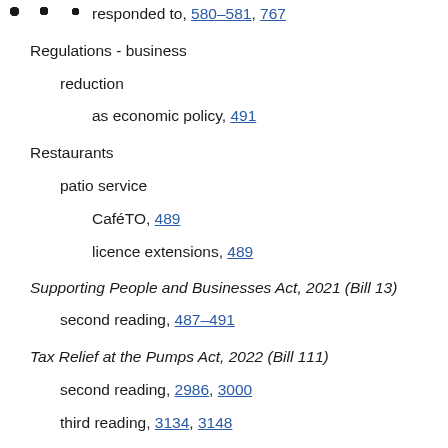responded to, 580–581, 767
Regulations - business
reduction
as economic policy, 491
Restaurants
patio service
CaféTO, 489
licence extensions, 489
Supporting People and Businesses Act, 2021 (Bill 13)
second reading, 487–491
Tax Relief at the Pumps Act, 2022 (Bill 111)
second reading, 2986, 3000
third reading, 3134, 3148